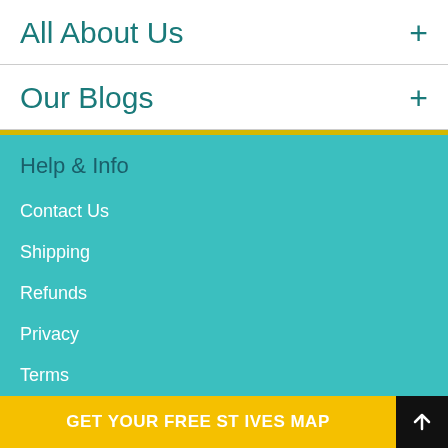All About Us +
Our Blogs +
Help & Info
Contact Us
Shipping
Refunds
Privacy
Terms
FAQ
GET YOUR FREE ST IVES MAP